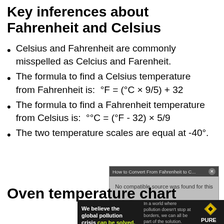Key inferences about Fahrenheit and Celsius
Celsius and Fahrenheit are commonly misspelled as Celcius and Farenheit.
The formula to find a Celsius temperature from Fahrenheit is:  °F = (°C × 9/5) + 32
The formula to find a Fahrenheit temperature from Celsius is:  °°C = (°F - 32) × 5/9
The two temperature scales are equal at -40°.
[Figure (screenshot): Partially visible video player overlay showing 'How to Convert From Fahrenheit to C...' with 'No compatible source was found for this' message and close button]
Oven temperature chart
[Figure (other): Advertisement banner: 'We believe the global pollution crisis can be solved. In a world where pollution doesn't stop at borders, we can all be part of the solution. JOIN US.' with Pure Earth logo]
[Figure (screenshot): Bottom portion of a temperature conversion calculator showing 'Convert 100 to Fahrenheit' and 'Convert 50F to Celsius' with partial formula displays]